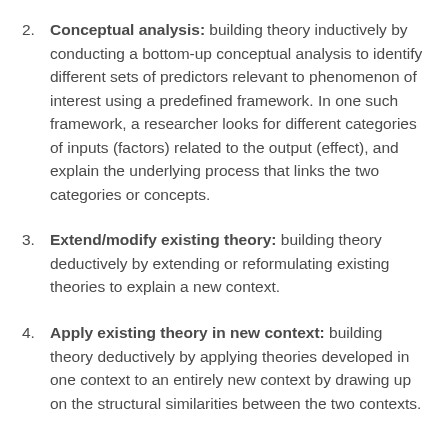2. Conceptual analysis: building theory inductively by conducting a bottom-up conceptual analysis to identify different sets of predictors relevant to phenomenon of interest using a predefined framework. In one such framework, a researcher looks for different categories of inputs (factors) related to the output (effect), and explain the underlying process that links the two categories or concepts.
3. Extend/modify existing theory: building theory deductively by extending or reformulating existing theories to explain a new context.
4. Apply existing theory in new context: building theory deductively by applying theories developed in one context to an entirely new context by drawing up on the structural similarities between the two contexts.